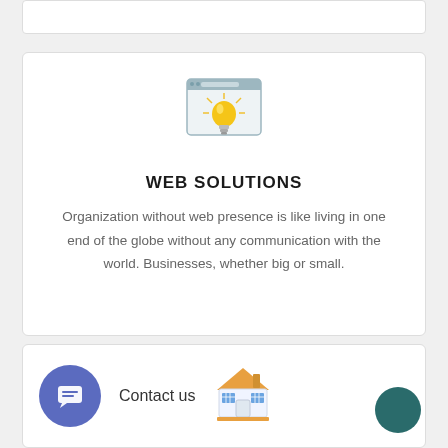[Figure (illustration): Lightbulb icon inside a browser-style window frame, representing web solutions]
WEB SOLUTIONS
Organization without web presence is like living in one end of the globe without any communication with the world. Businesses, whether big or small.
[Figure (illustration): Chat bubble icon (purple circle with message lines), Contact us label, and a house/home icon illustration]
[Figure (illustration): Dark teal circle button in bottom-right corner]